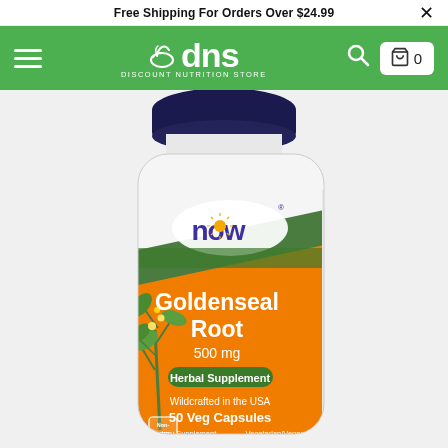Free Shipping For Orders Over $24.99
[Figure (logo): DNS Discount Nutrition Store logo with mortar and pestle icon on green navigation bar]
[Figure (photo): NOW Goldenseal Root 500 mg supplement bottle with orange and green label. Shows: Goldenseal Root, 500 mg, Herbal Supplement, Wildcrafted in the USA, 50 Veg Capsules, A Dietary Supplement, Vegetarian/Vegan, Non-GMO badge. NOW brand logo at top of label.]